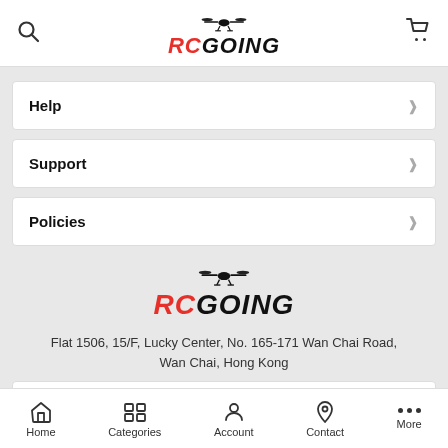[Figure (logo): RCGoing logo with drone silhouette above stylized RC (red) GOING (black) text in header]
Help
Support
Policies
[Figure (logo): RCGoing logo with drone silhouette above RC (red) GOING (black) text in footer section]
Flat 1506, 15/F, Lucky Center, No. 165-171 Wan Chai Road, Wan Chai, Hong Kong
Subscribe to our newsletter
Home  Categories  Account  Contact  More